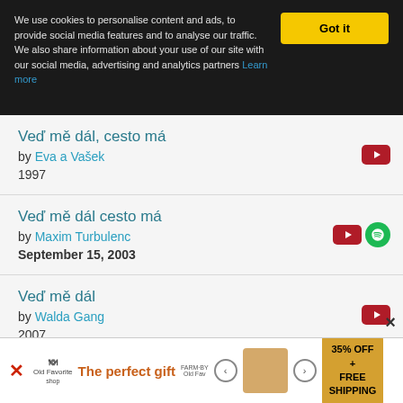We use cookies to personalise content and ads, to provide social media features and to analyse our traffic. We also share information about your use of our site with our social media, advertising and analytics partners Learn more
Veď mě dál, cesto má | by Eva a Vašek | 1997
Veď mě dál cesto má | by Maxim Turbulenc | September 15, 2003
Veď mě dál | by Walda Gang | 2007
Veď mě dál, cesto má | by Pavel Vítek
[Figure (screenshot): Advertisement banner: 'The perfect gift' with product image and '35% OFF + FREE SHIPPING' offer]